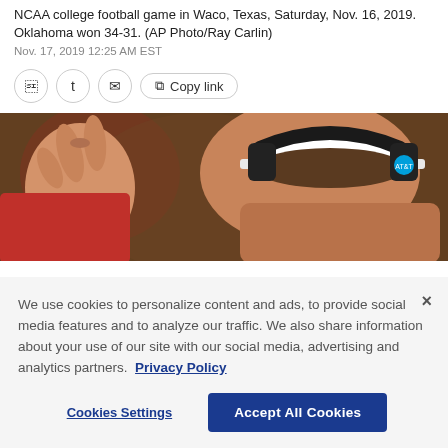NCAA college football game in Waco, Texas, Saturday, Nov. 16, 2019. Oklahoma won 34-31. (AP Photo/Ray Carlin)
Nov. 17, 2019 12:25 AM EST
[Figure (photo): Man wearing white visor and AT&T branded headphones making a hand gesture, photographed from behind/side at a football game]
We use cookies to personalize content and ads, to provide social media features and to analyze our traffic. We also share information about your use of our site with our social media, advertising and analytics partners. Privacy Policy
Cookies Settings | Accept All Cookies